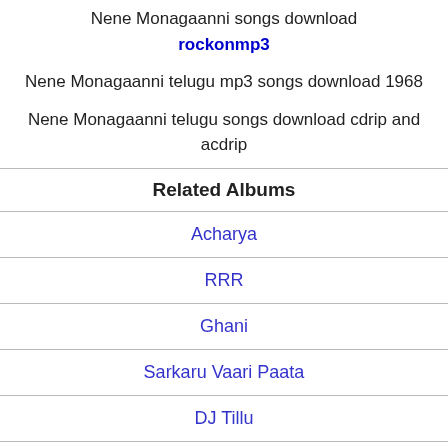Nene Monagaanni songs download rockonmp3
Nene Monagaanni telugu mp3 songs download 1968
Nene Monagaanni telugu songs download cdrip and acdrip
Related Albums
Acharya
RRR
Ghani
Sarkaru Vaari Paata
DJ Tillu
Copyright © 2020 | All Rights Reserved